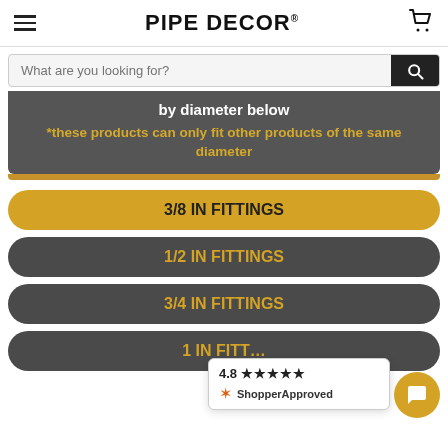PIPE DECOR®
What are you looking for?
by diameter below
*these products can only fit other products of the same diameter
3/8 IN FITTINGS
1/2 IN FITTINGS
3/4 IN FITTINGS
1 IN FITTINGS
[Figure (logo): ShopperApproved widget with 4.8 star rating]